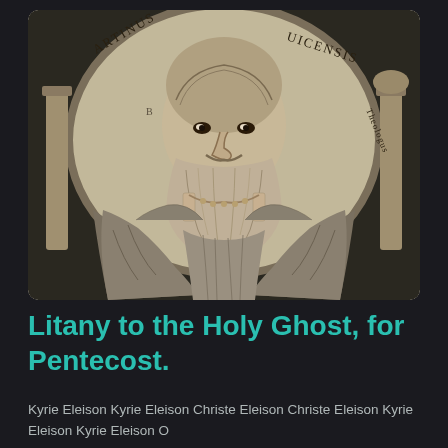[Figure (illustration): Historical engraving portrait of a bearded man (Martinus) wearing clerical robes, shown within an oval arch. Latin text around the arch reads 'ARTINUS' on the left and 'UICENSIS' / 'Theologus' on the right. The figure has a full beard and is depicted in a classical engraving style.]
Litany to the Holy Ghost, for Pentecost.
Kyrie Eleison Kyrie Eleison Christe Eleison Christe Eleison Kyrie Eleison Kyrie Eleison O